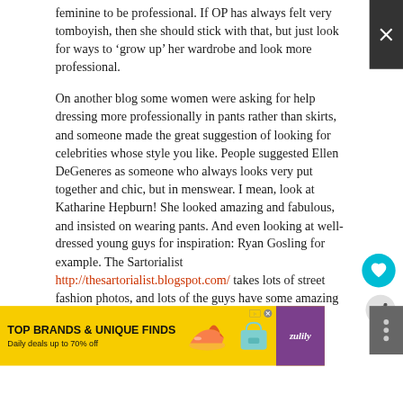feminine to be professional. If OP has always felt very tomboyish, then she should stick with that, but just look for ways to ‘grow up’ her wardrobe and look more professional.
On another blog some women were asking for help dressing more professionally in pants rather than skirts, and someone made the great suggestion of looking for celebrities whose style you like. People suggested Ellen DeGeneres as someone who always looks very put together and chic, but in menswear. I mean, look at Katharine Hepburn! She looked amazing and fabulous, and insisted on wearing pants. And even looking at well-dressed young guys for inspiration: Ryan Gosling for example. The Sartorialist http://thesartorialist.blogspot.com/ takes lots of street fashion photos, and lots of the guys have some amazing menswear outfits that I think would
[Figure (other): Advertisement banner: TOP BRANDS & UNIQUE FINDS, Daily deals up to 70% off, with product images and Zulily branding]